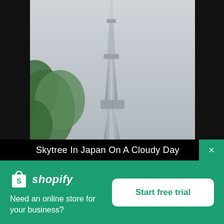[Figure (photo): Photo of Tokyo Skytree tower on a cloudy day with green tree leaves visible in the foreground lower left. The tower rises prominently against a grey overcast sky.]
Skytree In Japan On A Cloudy Day
[Figure (logo): Shopify logo: white shopping bag icon with letter S, followed by italic white text 'shopify']
Need an online store for your business?
Start free trial